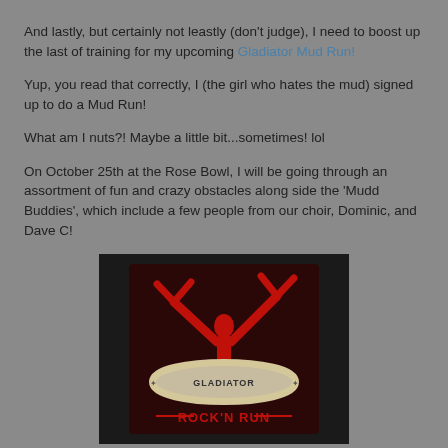And lastly, but certainly not leastly (don't judge), I need to boost up the last of training for my upcoming Gladiator Mud Run!
Yup, you read that correctly, I (the girl who hates the mud) signed up to do a Mud Run!
What am I nuts?! Maybe a little bit...sometimes! lol
On October 25th at the Rose Bowl, I will be going through an assortment of fun and crazy obstacles along side the 'Mudd Buddies', which include a few people from our choir, Dominic, and Dave C!
[Figure (photo): Logo/sign for the Gladiator Rock'n Run event showing a red silhouette of a person with arms raised above a circular sign reading 'GLADIATOR' and text below reading 'ROCK'N RUN']